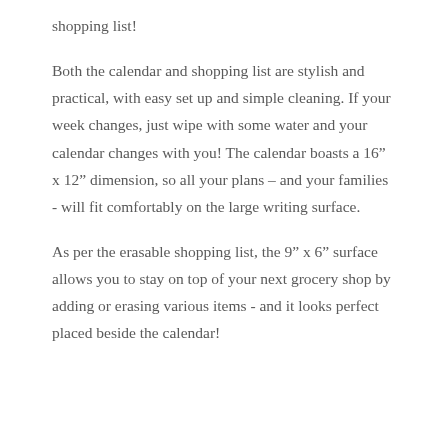shopping list!
Both the calendar and shopping list are stylish and practical, with easy set up and simple cleaning. If your week changes, just wipe with some water and your calendar changes with you! The calendar boasts a 16” x 12” dimension, so all your plans – and your families - will fit comfortably on the large writing surface.
As per the erasable shopping list, the 9” x 6” surface allows you to stay on top of your next grocery shop by adding or erasing various items - and it looks perfect placed beside the calendar!